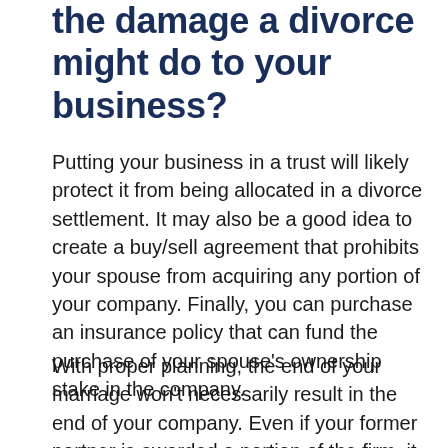the damage a divorce might do to your business?
Putting your business in a trust will likely protect it from being allocated in a divorce settlement. It may also be a good idea to create a buy/sell agreement that prohibits your spouse from acquiring any portion of your company. Finally, you can purchase an insurance policy that can fund the purchase of your spouse's ownership stake in the company.
With proper planning, the end of your marriage won't necessarily result in the end of your company. Even if your former partner is awarded a portion of the firm, it may still be